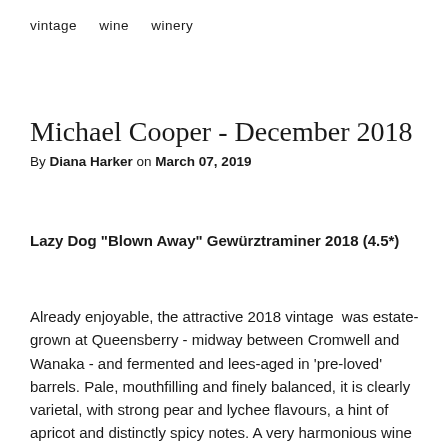vintage   wine   winery
Michael Cooper - December 2018
By Diana Harker on March 07, 2019
Lazy Dog "Blown Away" Gewürztraminer 2018 (4.5*)
Already enjoyable, the attractive 2018 vintage  was estate-grown at Queensberry - midway between Cromwell and Wanaka - and fermented and lees-aged in 'pre-loved' barrels. Pale, mouthfilling and finely balanced, it is clearly varietal, with strong pear and lychee flavours, a hint of apricot and distinctly spicy notes. A very harmonious wine with a touch of complexity and a dryish finish (9 grams/litre residual sugar), it should reward cellaring.